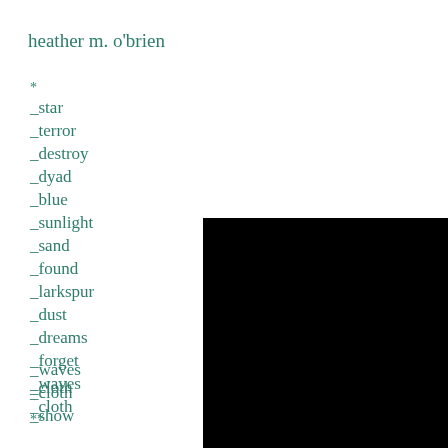heather m. o'brien
*
_star
_terror
_destroy
_dyad
_blue
_sunlight
_sand
_found
_larkspur
_dust
_dreams
_forget
_waves
_cloth
_show
_essex
_fabrics
**
[Figure (photo): Black square image in the bottom-right corner of the page]